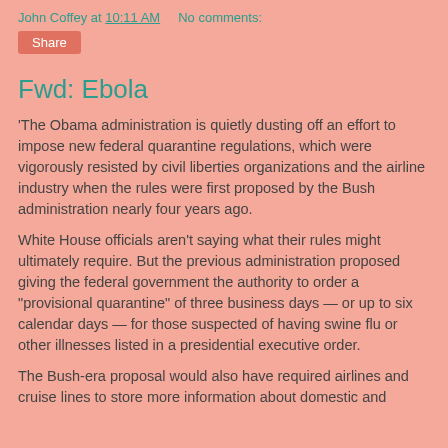John Coffey at 10:11 AM    No comments:
Fwd: Ebola
'The Obama administration is quietly dusting off an effort to impose new federal quarantine regulations, which were vigorously resisted by civil liberties organizations and the airline industry when the rules were first proposed by the Bush administration nearly four years ago.
White House officials aren't saying what their rules might ultimately require. But the previous administration proposed giving the federal government the authority to order a "provisional quarantine" of three business days — or up to six calendar days — for those suspected of having swine flu or other illnesses listed in a presidential executive order.
The Bush-era proposal would also have required airlines and cruise lines to store more information about domestic and